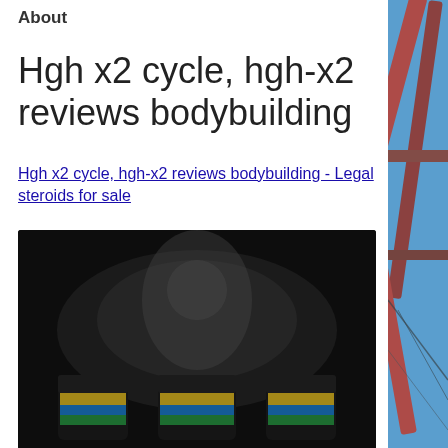About
Hgh x2 cycle, hgh-x2 reviews bodybuilding
Hgh x2 cycle, hgh-x2 reviews bodybuilding - Legal steroids for sale
[Figure (photo): Blurred/dark product image showing what appears to be supplement containers with colorful labels on a dark background.]
[Figure (photo): Construction photo showing steel beams and framework against a blue sky, visible on the right side column.]